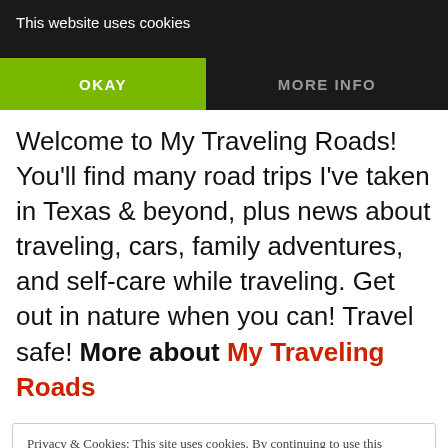This website uses cookies
OKAY
MORE INFO
Welcome to My Traveling Roads! You'll find many road trips I've taken in Texas & beyond, plus news about traveling, cars, family adventures, and self-care while traveling. Get out in nature when you can! Travel safe! More about My Traveling Roads
Privacy & Cookies: This site uses cookies. By continuing to use this website, you agree to their use.
To find out more, including how to control cookies, see here: Cookie Policy
Close and accept